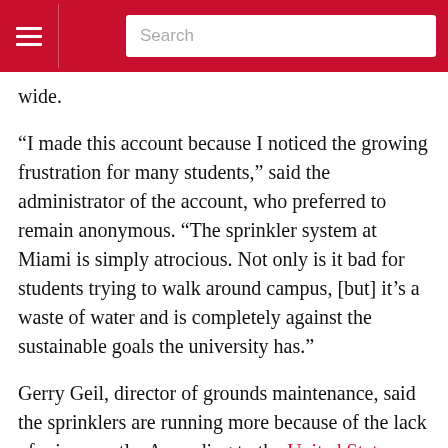Navigation bar with hamburger menu and search box
wide.
“I made this account because I noticed the growing frustration for many students,” said the administrator of the account, who preferred to remain anonymous. “The sprinkler system at Miami is simply atrocious. Not only is it bad for students trying to walk around campus, [but] it’s a waste of water and is completely against the sustainable goals the university has.”
Gerry Geil, director of grounds maintenance, said the sprinklers are running more because of the lack of rain recently. According to the United States Drought Monitor, Oxford is currently in a moderate drought.